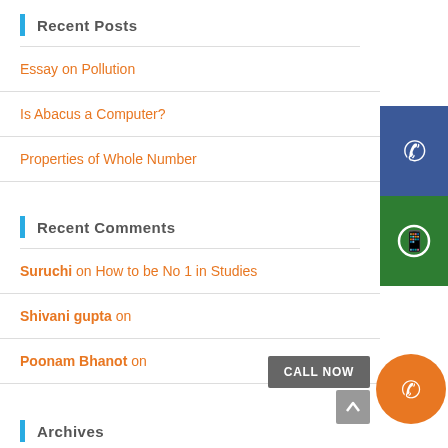Recent Posts
Essay on Pollution
Is Abacus a Computer?
Properties of Whole Number
Recent Comments
Suruchi on How to be No 1 in Studies
Shivani gupta on
Poonam Bhanot on
Archives
[Figure (infographic): Blue phone call button and green WhatsApp button on the right side, orange circle call button and CALL NOW button at bottom right]